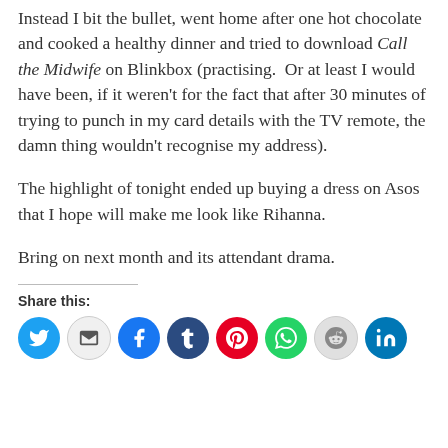Instead I bit the bullet, went home after one hot chocolate and cooked a healthy dinner and tried to download Call the Midwife on Blinkbox (practising.  Or at least I would have been, if it weren't for the fact that after 30 minutes of trying to punch in my card details with the TV remote, the damn thing wouldn't recognise my address).
The highlight of tonight ended up buying a dress on Asos that I hope will make me look like Rihanna.
Bring on next month and its attendant drama.
Share this:
[Figure (infographic): Row of 8 social media sharing icon circles: Twitter (blue), Email (light gray), Facebook (blue), Tumblr (dark navy), Pinterest (red), WhatsApp (green), Reddit (light gray), LinkedIn (dark blue)]